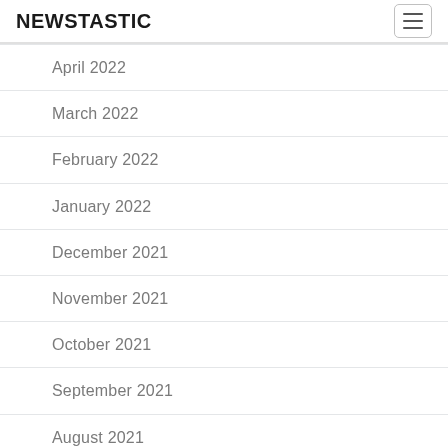NEWSTASTIC
April 2022
March 2022
February 2022
January 2022
December 2021
November 2021
October 2021
September 2021
August 2021
July 2021